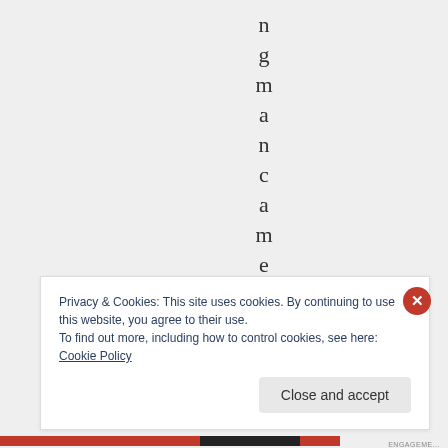n g m a n c a m e u
Privacy & Cookies: This site uses cookies. By continuing to use this website, you agree to their use.
To find out more, including how to control cookies, see here: Cookie Policy
Close and accept